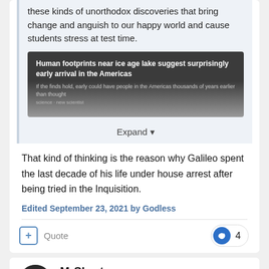these kinds of unorthodox discoveries that bring change and anguish to our happy world and cause students stress at test time.
[Figure (screenshot): News article embed showing headline: 'Human footprints near ice age lake suggest surprisingly early arrival in the Americas' with subtext about people arriving earlier than thought]
Expand
That kind of thinking is the reason why Galileo spent the last decade of his life under house arrest after being tried in the Inquisition.
Edited September 23, 2021 by Godless
Quote   4
MrShorty
Posted September 23, 2021